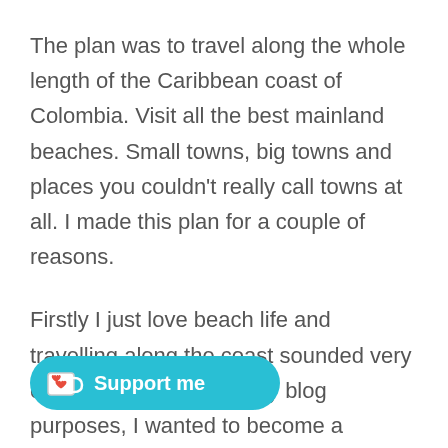The plan was to travel along the whole length of the Caribbean coast of Colombia. Visit all the best mainland beaches. Small towns, big towns and places you couldn't really call towns at all. I made this plan for a couple of reasons.
Firstly I just love beach life and travelling along the coast sounded very exciting. Secondly, for my blog purposes, I wanted to become a 'Colombian coast expert' with few posts in mind and digital nomads guide to wrap it up with.
[Figure (other): A cyan/turquoise 'Support me' button with a Ko-fi cup icon (white cup with red heart) on the left and bold white text 'Support me' on the right.]